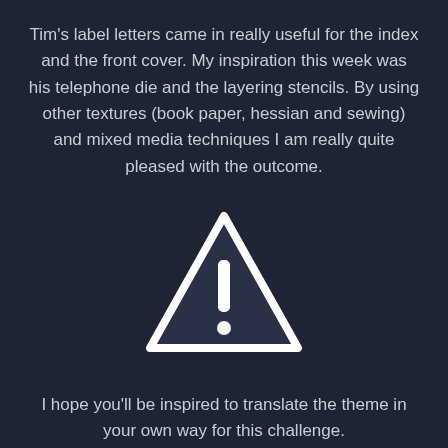Tim's label letters came in really useful for the index and the front cover. My inspiration this week was his telephone die and the layering stencils. By using other textures (book paper, hessian and sewing) and mixed media techniques I am really quite pleased with the outcome.
[Figure (illustration): Warning triangle icon with exclamation mark, white outline on dark background]
I hope you'll be inspired to translate the theme in your own way for this challenge.
Have fun.